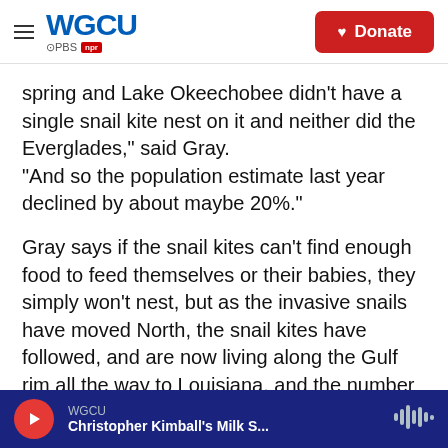WGCU | PBS | NPR | Donate
spring and Lake Okeechobee didn't have a single snail kite nest on it and neither did the Everglades," said Gray.
"And so the population estimate last year declined by about maybe 20%."
Gray says if the snail kites can't find enough food to feed themselves or their babies, they simply won't nest, but as the invasive snails have moved North, the snail kites have followed, and are now living along the Gulf rim all the way to Louisiana, and the number one nesting site in the entire state most recently was Paynes Prairie, near Gainesville.
WGCU | Christopher Kimball's Milk S...